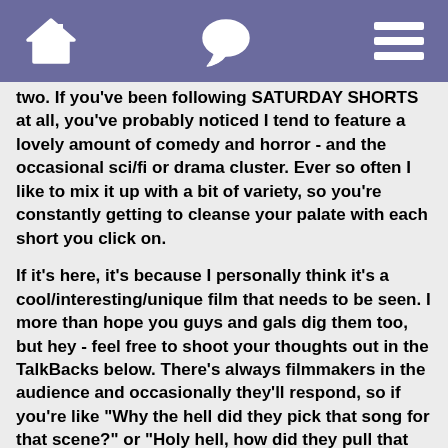[home icon] [chat icon] [menu icon]
two. If you've been following SATURDAY SHORTS at all, you've probably noticed I tend to feature a lovely amount of comedy and horror - and the occasional sci/fi or drama cluster. Ever so often I like to mix it up with a bit of variety, so you're constantly getting to cleanse your palate with each short you click on.
If it's here, it's because I personally think it's a cool/interesting/unique film that needs to be seen. I more than hope you guys and gals dig them too, but hey - feel free to shoot your thoughts out in the TalkBacks below. There's always filmmakers in the audience and occasionally they'll respond, so if you're like "Why the hell did they pick that song for that scene?" or "Holy hell, how did they pull that shot off?" - ask! That said, this is a No-Troll-Zone and unlike any other TalkBack on AICN, if you're dying to say something hateful or be a dick, go do that in another article por favor - or better yet, don't.
Go grab yourself some popcorn, lock your kids in a